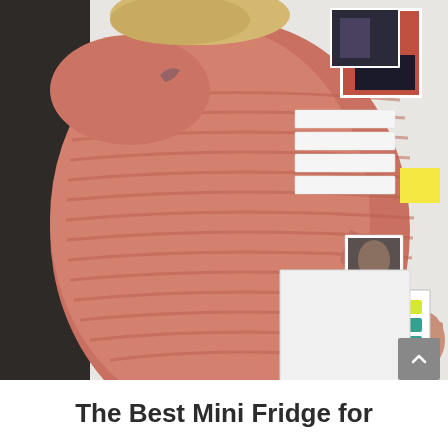[Figure (photo): A woman with blonde hair wearing a chunky pink/salmon knit sweater, viewed from behind, leaning toward a white wall or board covered with photos, notes, and colorful papers. On the right side of the wall there is a colorful teal and yellow checkered/diamond patterned card or note. The background shows a dark shelf or cabinet on the left.]
The Best Mini Fridge for